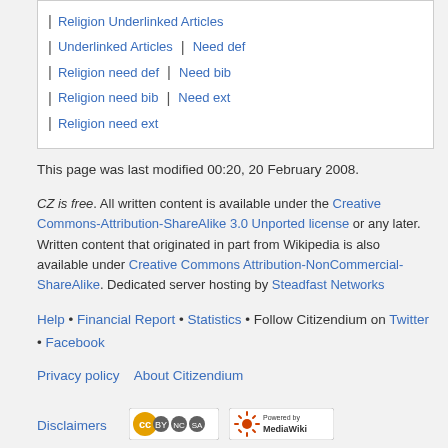Religion Underlinked Articles
Underlinked Articles | Need def
Religion need def | Need bib
Religion need bib | Need ext
Religion need ext
This page was last modified 00:20, 20 February 2008.
CZ is free. All written content is available under the Creative Commons-Attribution-ShareAlike 3.0 Unported license or any later. Written content that originated in part from Wikipedia is also available under Creative Commons Attribution-NonCommercial-ShareAlike. Dedicated server hosting by Steadfast Networks
Help • Financial Report • Statistics • Follow Citizendium on Twitter • Facebook
Privacy policy   About Citizendium
Disclaimers
[Figure (logo): Creative Commons BY-NC-SA license badge]
[Figure (logo): Powered by MediaWiki badge]